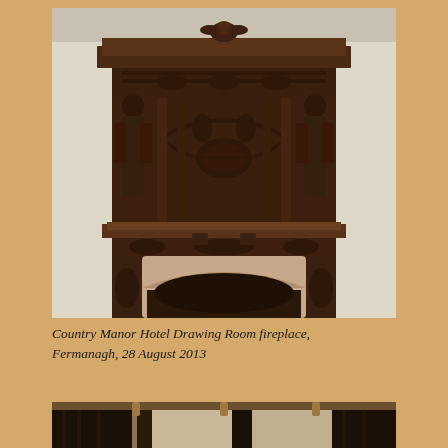[Figure (photo): Ornate Victorian carved wooden fireplace surround with figurative caryatids on both sides, decorative frieze with floral and figural motifs, arched overmantel with central medallion, cherub finial at top, in the Drawing Room of Country Manor Hotel, Fermanagh. Cream/beige patterned wallpaper visible behind. Fireplace opening has an arched cast iron insert.]
Country Manor Hotel Drawing Room fireplace, Fermanagh, 28 August 2013
[Figure (photo): Partial view of a room interior showing dark curtains/drapes with tasseled valance and light filtering through.]